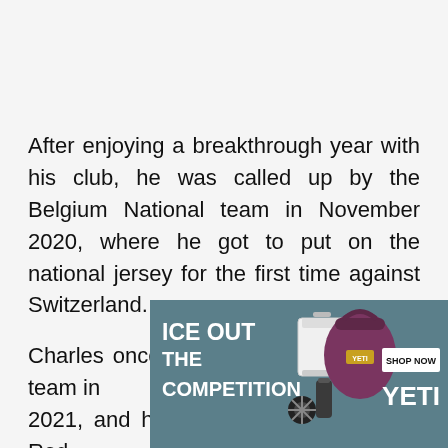After enjoying a breakthrough year with his club, he was called up by the Belgium National team in November 2020, where he got to put on the national jersey for the first time against Switzerland.
Charles once again joined the National team in 2021, and he scored 3 games for the Red...
[Figure (other): YETI advertisement banner: 'ICE OUT THE COMPETITION' with cooler, bag and other YETI products, plus a 'SHOP NOW' button and YETI logo]